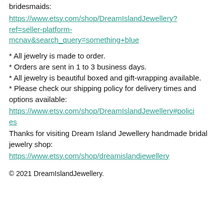bridesmaids:
https://www.etsy.com/shop/DreamIslandJewellery?ref=seller-platform-mcnav&search_query=something+blue
* All jewelry is made to order.
* Orders are sent in 1 to 3 business days.
* All jewelry is beautiful boxed and gift-wrapping available.
* Please check our shipping policy for delivery times and options available:
https://www.etsy.com/shop/DreamIslandJewellery#policies
Thanks for visiting Dream Island Jewellery handmade bridal jewelry shop:
https://www.etsy.com/shop/dreamislandjewellery
© 2021 DreamIslandJewellery.